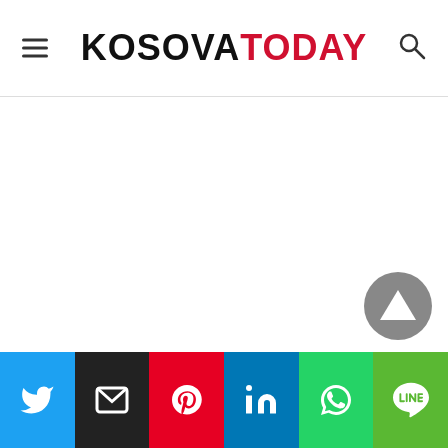KOSOVATODAY
[Figure (other): Empty white content area]
[Figure (other): Scroll-to-top arrow button (dark grey circle with upward triangle)]
[Figure (other): Social share bar with six buttons: Twitter (blue), Email (black), Pinterest (red), LinkedIn (blue), WhatsApp (green), LINE (green)]